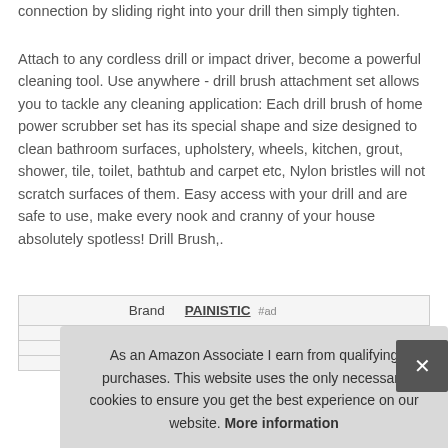connection by sliding right into your drill then simply tighten.
Attach to any cordless drill or impact driver, become a powerful cleaning tool. Use anywhere - drill brush attachment set allows you to tackle any cleaning application: Each drill brush of home power scrubber set has its special shape and size designed to clean bathroom surfaces, upholstery, wheels, kitchen, grout, shower, tile, toilet, bathtub and carpet etc, Nylon bristles will not scratch surfaces of them. Easy access with your drill and are safe to use, make every nook and cranny of your house absolutely spotless! Drill Brush,.
| Brand | Value |
| --- | --- |
| Brand | PAINISTIC |
As an Amazon Associate I earn from qualifying purchases. This website uses the only necessary cookies to ensure you get the best experience on our website. More information